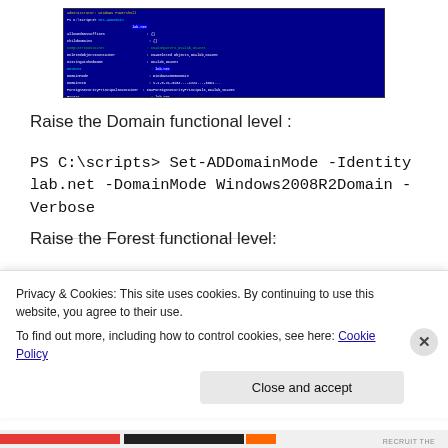[Figure (screenshot): Terminal/PowerShell window with dark blue background showing command output text in various colors (white, cyan, yellow, green)]
Raise the Domain functional level :
Raise the Forest functional level:
Privacy & Cookies: This site uses cookies. By continuing to use this website, you agree to their use.
To find out more, including how to control cookies, see here: Cookie Policy
Close and accept